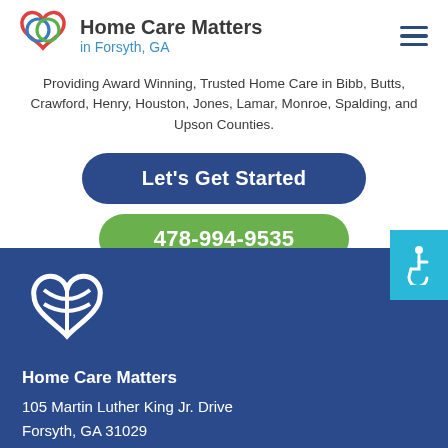[Figure (logo): Home Care Matters logo — overlapping heart shapes in red, blue, and green]
Home Care Matters in Forsyth, GA
Providing Award Winning, Trusted Home Care in Bibb, Butts, Crawford, Henry, Houston, Jones, Lamar, Monroe, Spalding, and Upson Counties.
Let's Get Started
478-994-9535
[Figure (logo): White outline Home Care Matters logo on dark blue background]
Home Care Matters
105 Martin Luther King Jr. Drive
Forsyth, GA 31029
Phone: (478) 994-9535
infoforsyth@homecarematters.com